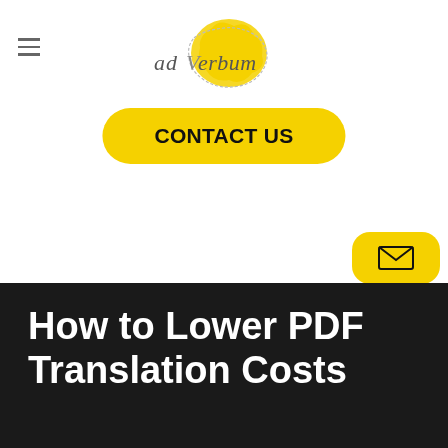[Figure (logo): Ad Verbum logo with stylized text and yellow map illustration]
CONTACT US
[Figure (illustration): Yellow email envelope badge button]
AD VERBUM > BLOG > How to Lower PDF Translation Costs
How to Lower PDF Translation Costs